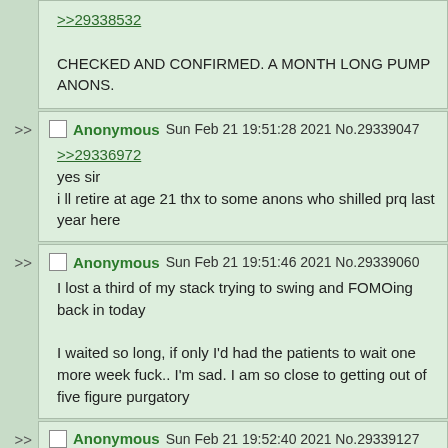>>29338532
CHECKED AND CONFIRMED. A MONTH LONG PUMP ANONS.
Anonymous Sun Feb 21 19:51:28 2021 No.29339047
>>29336972
yes sir
i ll retire at age 21 thx to some anons who shilled prq last year here
Anonymous Sun Feb 21 19:51:46 2021 No.29339060
I lost a third of my stack trying to swing and FOMOing back in today
I waited so long, if only I'd had the patients to wait one more week fuck.. I'm sad. I am so close to getting out of five figure purgatory
Anonymous Sun Feb 21 19:52:40 2021 No.29339127
>>29337889
the chad pattern